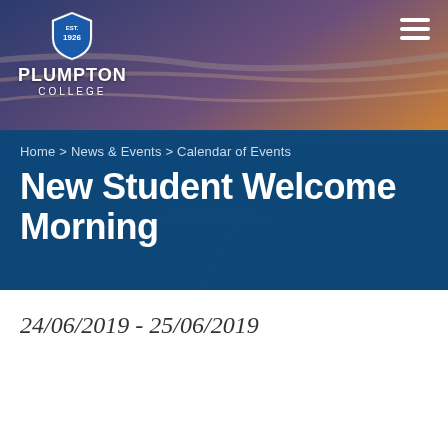[Figure (photo): Aerial landscape photo of rolling green countryside hills at sunset/dusk with warm golden light, used as hero banner background for Plumpton College website]
PLUMPTON COLLEGE EST. 1926
Home > News & Events > Calendar of Events
New Student Welcome Morning
24/06/2019 - 25/06/2019